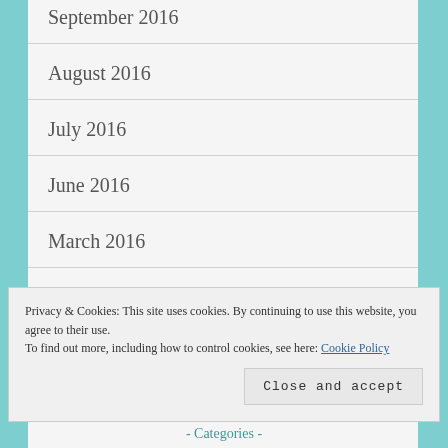September 2016
August 2016
July 2016
June 2016
March 2016
February 2016
Privacy & Cookies: This site uses cookies. By continuing to use this website, you agree to their use.
To find out more, including how to control cookies, see here: Cookie Policy
Close and accept
- Categories -